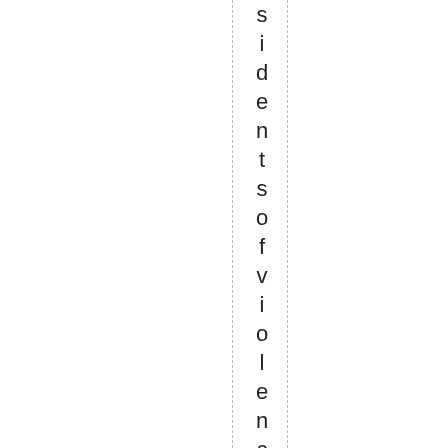sidentsofoviolenceandplacethemon